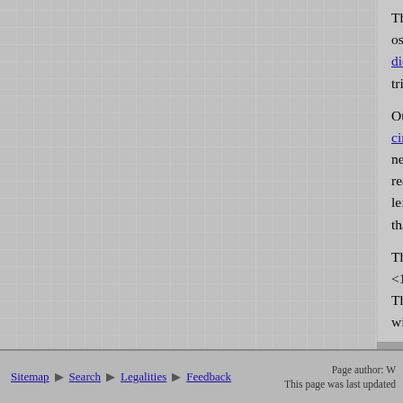The comparator uses a transistor front end... oscillator outputs connected through 200K... diode and transistor base emitter junction. trigger level is approximately 2 x 1.2V = 2...
Other resistor ratios should give different... circuit analog output voltage that is applie... near 0V but the circuit generates narrow p... reached. Conversely, while discharging, th... left hand comparator inverter input is mos... that approach Vcc / 2 when the reset level...
The maximum supply current during char... <100uA. Given the above component valu... The reset voltage can be lowered by increa... with 4700uF to 1F capacitors and a variet...
| For |
| --- |
| The original post of this material is availa... |
Sitemap | Search | Legalities | Feedback | Page author: W... This page was last updated...